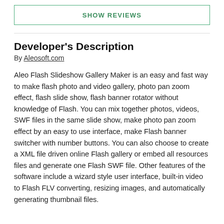SHOW REVIEWS
Developer's Description
By Aleosoft.com
Aleo Flash Slideshow Gallery Maker is an easy and fast way to make flash photo and video gallery, photo pan zoom effect, flash slide show, flash banner rotator without knowledge of Flash. You can mix together photos, videos, SWF files in the same slide show, make photo pan zoom effect by an easy to use interface, make Flash banner switcher with number buttons. You can also choose to create a XML file driven online Flash gallery or embed all resources files and generate one Flash SWF file. Other features of the software include a wizard style user interface, built-in video to Flash FLV converting, resizing images, and automatically generating thumbnail files.